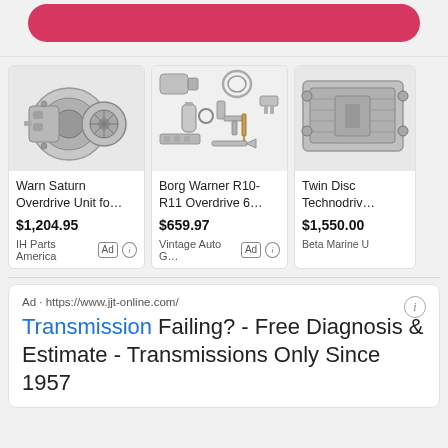[Figure (other): Pink rounded button at top of page (partially visible)]
[Figure (other): Product card: Warn Saturn Overdrive Unit fo... $1,204.95 - IH Parts America (Ad)]
[Figure (other): Product card: Borg Warner R10-R11 Overdrive 6... $659.97 - Vintage Auto G... (Ad)]
[Figure (other): Product card (partial): Twin Disc Technodriv... $1,550.00 - Beta Marine U]
Ad · https://www.jjt-online.com/
Transmission Failing? - Free Diagnosis & Estimate - Transmissions Only Since 1957